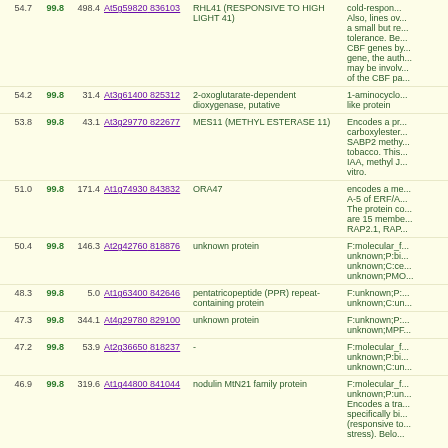| Score1 | Score2 | Score3 | Links | Name | Description |
| --- | --- | --- | --- | --- | --- |
| 54.7 | 99.8 | 498.4 | At5g59820 836103 | RHL41 (RESPONSIVE TO HIGH LIGHT 41) | cold-responsive. Also, lines ov... a small but re... tolerance. Be... CBF genes by... gene, the auth... may be involv... of the CBF pa... |
| 54.2 | 99.8 | 31.4 | At3g61400 825312 | 2-oxoglutarate-dependent dioxygenase, putative | 1-aminocyclo... like protein |
| 53.8 | 99.8 | 43.1 | At3g29770 822677 | MES11 (METHYL ESTERASE 11) | Encodes a pr... carboxylester... SABP2 methy... tobacco. This... IAA, methyl J... vitro. |
| 51.0 | 99.8 | 171.4 | At1g74930 843832 | ORA47 | encodes a me... A-5 of ERF/A... The protein co... are 15 membe... RAP2.1, RAP... |
| 50.4 | 99.8 | 146.3 | At2g42760 818876 | unknown protein | F:molecular_f... unknown;P:bi... unknown;C:ce... unknown;PMO... |
| 48.3 | 99.8 | 5.0 | At1g63400 842646 | pentatricopeptide (PPR) repeat-containing protein | F:unknown;P:... unknown;C:un... |
| 47.3 | 99.8 | 344.1 | At4g29780 829100 | unknown protein | F:unknown;P:... unknown;MPF... |
| 47.2 | 99.8 | 53.9 | At2g36650 818237 | - | F:molecular_f... unknown;P:bi... unknown;C:un... |
| 46.9 | 99.8 | 319.6 | At1g44800 841044 | nodulin MtN21 family protein | F:molecular_f... unknown;P:un... Encodes a tra... specifically bi... (responsive to... stress). Belo... |